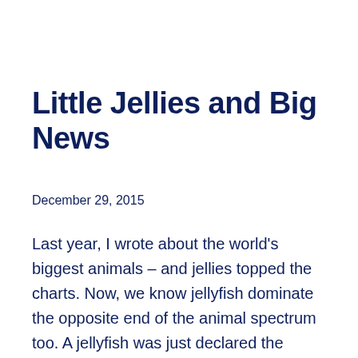Little Jellies and Big News
December 29, 2015
Last year, I wrote about the world’s biggest animals – and jellies topped the charts. Now, we know jellyfish dominate the opposite end of the animal spectrum too. A jellyfish was just declared the smallest animal in the world. These minute beings were so problematic when they were first